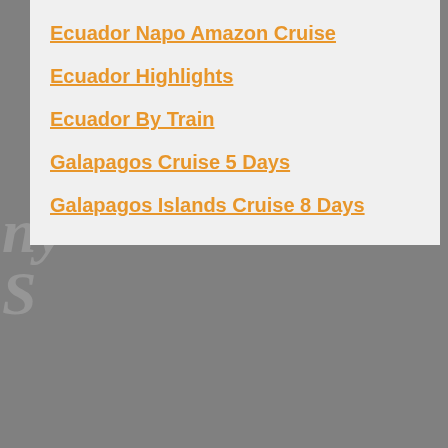Ecuador Napo Amazon Cruise
Ecuador Highlights
Ecuador By Train
Galapagos Cruise 5 Days
Galapagos Islands Cruise 8 Days